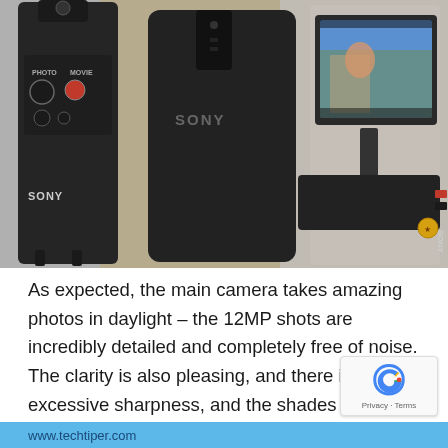[Figure (photo): Three Sony camera/video accessories displayed side by side: a Sony shooting grip/tripod on the left, a Sony smartphone in the center, and a Sony vlogging monitor/camera rig on the right with a screen showing a person outdoors.]
As expected, the main camera takes amazing photos in daylight – the 12MP shots are incredibly detailed and completely free of noise. The clarity is also pleasing, and there is no excessive sharpness, and the shades are natural, regardless of the type of object and lighting.
www.techtiper.com